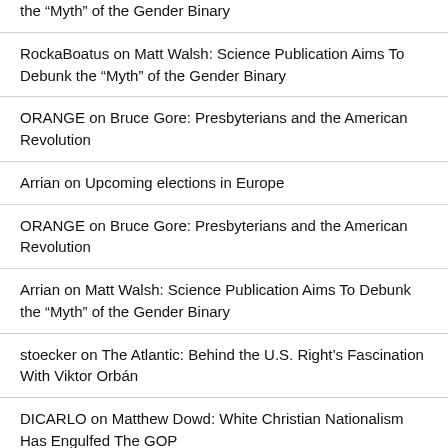the “Myth” of the Gender Binary
RockaBoatus on Matt Walsh: Science Publication Aims To Debunk the “Myth” of the Gender Binary
ORANGE on Bruce Gore: Presbyterians and the American Revolution
Arrian on Upcoming elections in Europe
ORANGE on Bruce Gore: Presbyterians and the American Revolution
Arrian on Matt Walsh: Science Publication Aims To Debunk the “Myth” of the Gender Binary
stoecker on The Atlantic: Behind the U.S. Right’s Fascination With Viktor Orbán
DICARLO on Matthew Dowd: White Christian Nationalism Has Engulfed The GOP
Merthyr Rising, 1831 on The Atlantic: Behind the U.S. Right’s Fascination With Viktor Orbán